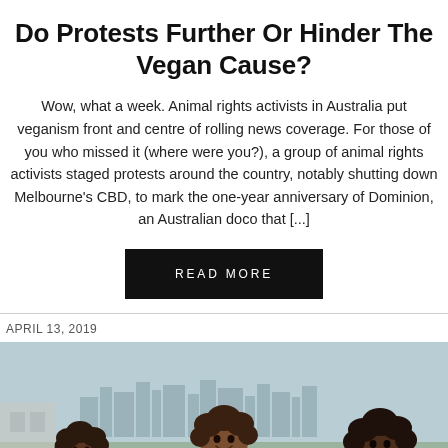Do Protests Further Or Hinder The Vegan Cause?
Wow, what a week. Animal rights activists in Australia put veganism front and centre of rolling news coverage. For those of you who missed it (where were you?), a group of animal rights activists staged protests around the country, notably shutting down Melbourne's CBD, to mark the one-year anniversary of Dominion, an Australian doco that [...]
READ MORE
APRIL 13, 2019
[Figure (photo): Three women with curly hair smiling outdoors with a city skyline in the background]